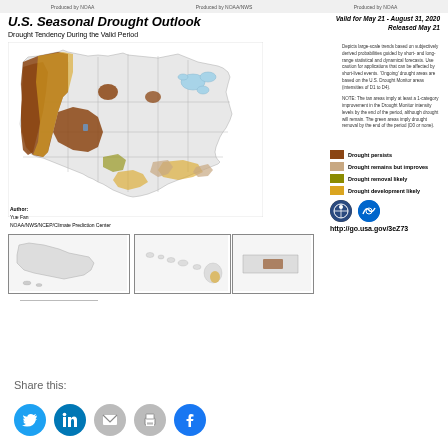Produced by NOAA | Produced by NOAA/NWS | Produced by NOAA
U.S. Seasonal Drought Outlook
Drought Tendency During the Valid Period
Valid for May 21 - August 31, 2020
Released May 21
[Figure (map): U.S. map showing seasonal drought outlook with colored overlays indicating drought persists (dark brown), drought remains but improves (tan), drought removal likely (olive green), and drought development likely (yellow) across various US regions. Western states show significant drought persistence.]
Depicts large-scale trends based on subjectively derived probabilities guided by short- and long-range statistical and dynamical forecasts. Use caution for applications that can be affected by short-lived events. 'Ongoing' drought areas are based on the U.S. Drought Monitor areas (intensities of D1 to D4).

NOTE: The tan areas imply at least a 1-category improvement in the Drought Monitor intensity levels by the end of the period, although drought will remain. The green areas imply drought removal by the end of the period (D0 or none).
Author:
Yue Fan
NOAA/NWS/NCEP/Climate Prediction Center
[Figure (map): Alaska inset map]
[Figure (map): Hawaii inset map]
[Figure (map): Puerto Rico inset map]
Drought persists
Drought remains but improves
Drought removal likely
Drought development likely
http://go.usa.gov/3eZ73
Share this: